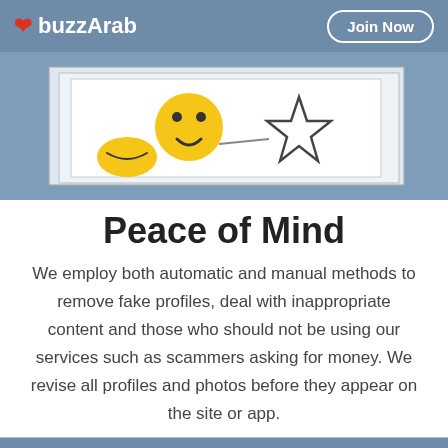buzzArab | Join Now
[Figure (photo): Partial screenshot of a website hero image showing emoji stickers (smiley face and star outline) on a light background, framed with a border on a blue-gray background.]
Peace of Mind
We employ both automatic and manual methods to remove fake profiles, deal with inappropriate content and those who should not be using our services such as scammers asking for money. We revise all profiles and photos before they appear on the site or app.